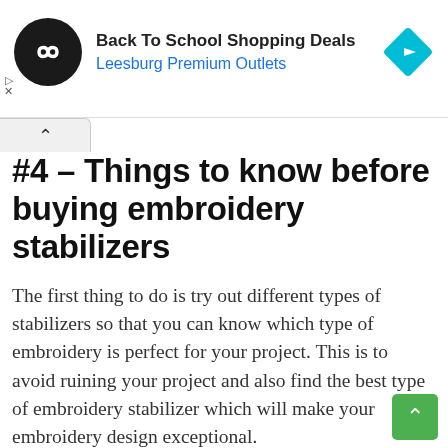[Figure (screenshot): Advertisement banner for Back To School Shopping Deals at Leesburg Premium Outlets, with circular logo on left and blue diamond navigation icon on right]
#4 – Things to know before buying embroidery stabilizers
The first thing to do is try out different types of stabilizers so that you can know which type of embroidery is perfect for your project. This is to avoid ruining your project and also find the best type of embroidery stabilizer which will make your embroidery design exceptional.